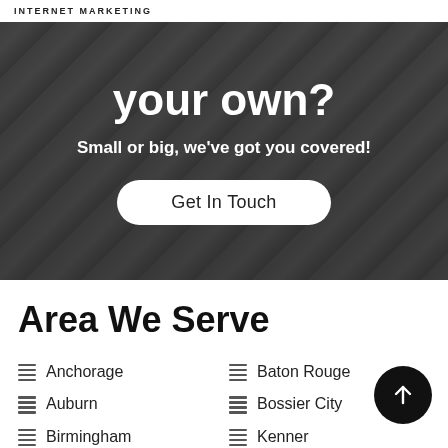INTERNET MARKETING
your own?
Small or big, we've got you covered!
Get In Touch
Area We Serve
Anchorage
Auburn
Birmingham
Baton Rouge
Bossier City
Kenner